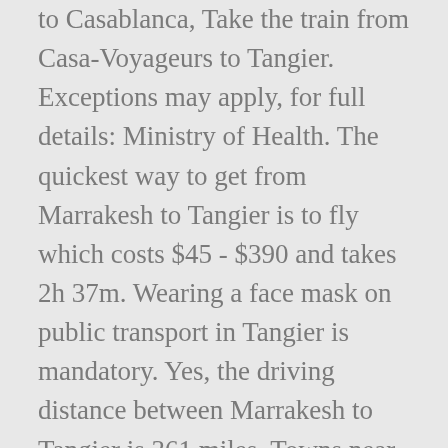to Casablanca, Take the train from Casa-Voyageurs to Tangier. Exceptions may apply, for full details: Ministry of Health. The quickest way to get from Marrakesh to Tangier is to fly which costs $45 - $390 and takes 2h 37m. Wearing a face mask on public transport in Tangier is mandatory. Yes, the driving distance between Marrakesh to Tangier is 361 miles. Towns near Tangier Morocco . Given below is the distance between Tangier, Morocco and Marrakech, Morocco.A map showing location of Tangier and Marrakech with air travel direction is also provided. See also a map, estimated flight duration, carbon dioxide emissions and the